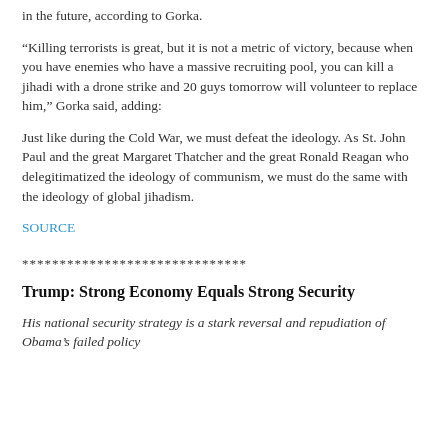in the future, according to Gorka.
“Killing terrorists is great, but it is not a metric of victory, because when you have enemies who have a massive recruiting pool, you can kill a jihadi with a drone strike and 20 guys tomorrow will volunteer to replace him,” Gorka said, adding:
Just like during the Cold War, we must defeat the ideology. As St. John Paul and the great Margaret Thatcher and the great Ronald Reagan who delegitimatized the ideology of communism, we must do the same with the ideology of global jihadism.
SOURCE
******************************
Trump: Strong Economy Equals Strong Security
His national security strategy is a stark reversal and repudiation of Obama's failed policy